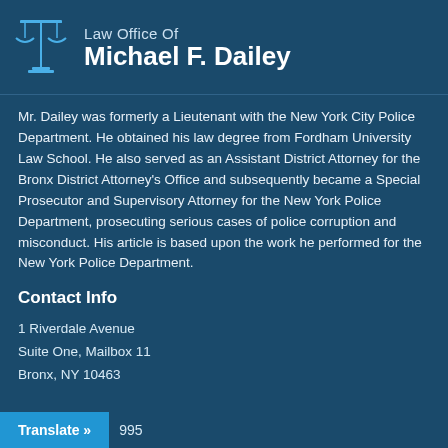Law Office Of Michael F. Dailey
Mr. Dailey was formerly a Lieutenant with the New York City Police Department. He obtained his law degree from Fordham University Law School. He also served as an Assistant District Attorney for the Bronx District Attorney's Office and subsequently became a Special Prosecutor and Supervisory Attorney for the New York Police Department, prosecuting serious cases of police corruption and misconduct. His article is based upon the work he performed for the New York Police Department.
Contact Info
1 Riverdale Avenue
Suite One, Mailbox 11
Bronx, NY 10463
Translate » 995